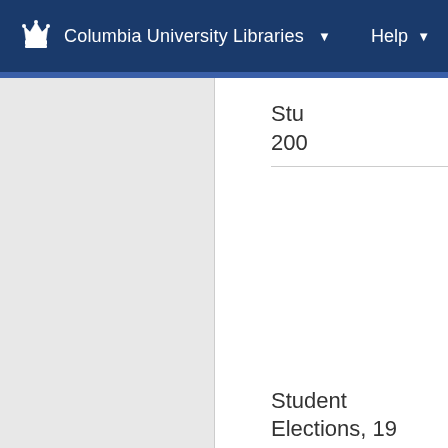Columbia University Libraries   Help
Stu
200
Student Elections, 19